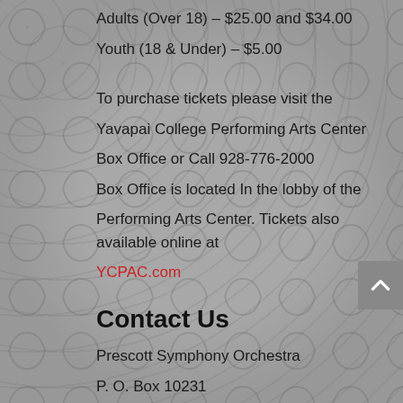Adults (Over 18) – $25.00 and $34.00
Youth (18 & Under) – $5.00
To purchase tickets please visit the Yavapai College Performing Arts Center Box Office or Call 928-776-2000 Box Office is located In the lobby of the Performing Arts Center. Tickets also available online at YCPAC.com
Contact Us
Prescott Symphony Orchestra
P. O. Box 10231
Prescott, AZ 86304
Phone: (928) 220-7446
Email: Info@PrescottSymphony.com